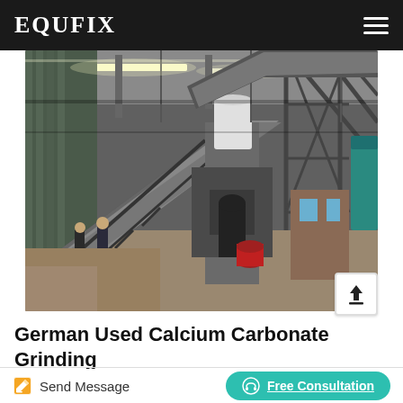EQUFIX
[Figure (photo): Interior of a large industrial warehouse/factory showing a calcium carbonate grinding facility with conveyor belts, steel framework structures, grinding machinery with a white silo/hopper, workers visible in the foreground, and various industrial equipment.]
German Used Calcium Carbonate Grinding
Send Message
Free Consultation